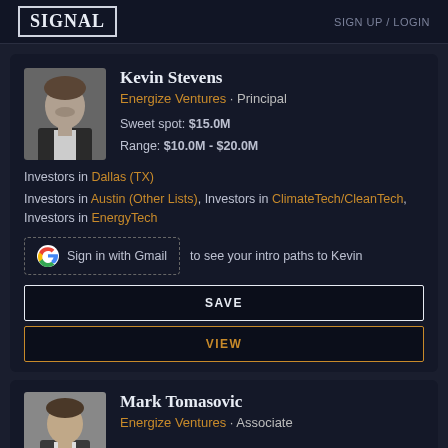SIGNAL   SIGN UP / LOGIN
Kevin Stevens
Energize Ventures · Principal
Sweet spot: $15.0M
Range: $10.0M - $20.0M
Investors in Dallas (TX)
Investors in Austin (Other Lists), Investors in ClimateTech/CleanTech, Investors in EnergyTech
Sign in with Gmail to see your intro paths to Kevin
SAVE
VIEW
Mark Tomasovic
Energize Ventures · Associate